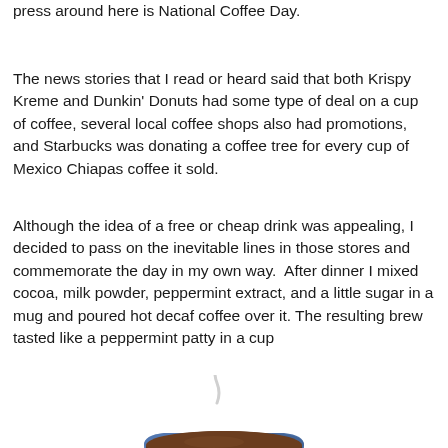press around here is National Coffee Day.
The news stories that I read or heard said that both Krispy Kreme and Dunkin' Donuts had some type of deal on a cup of coffee, several local coffee shops also had promotions, and Starbucks was donating a coffee tree for every cup of Mexico Chiapas coffee it sold.
Although the idea of a free or cheap drink was appealing, I decided to pass on the inevitable lines in those stores and commemorate the day in my own way.  After dinner I mixed cocoa, milk powder, peppermint extract, and a little sugar in a mug and poured hot decaf coffee over it. The resulting brew tasted like a peppermint patty in a cup
[Figure (illustration): A blue ceramic coffee mug filled with dark brown coffee, with a small wisp of steam rising from it. The mug has a handle on the right side. Emoji-style illustration.]